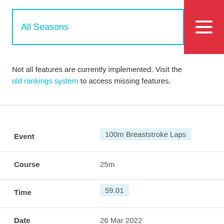All Seasons
Not all features are currently implemented. Visit the old rankings system to access missing features.
| Field | Value |
| --- | --- |
| Event | 100m Breaststroke Laps |
| Course | 25m |
| Time | 59.01 |
| Date | 26 Mar 2022 |
| Meet | Championnat Universitaire canadien |